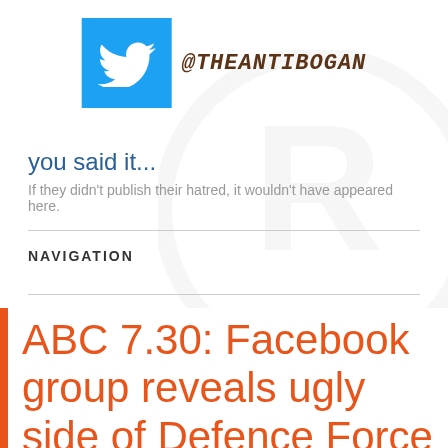[Figure (logo): Twitter bird logo icon on blue square background with handwritten text '@THEANTIBOGAN' next to it]
you said it...
If they didn't publish their hatred, it wouldn't have appeared here.
NAVIGATION
ABC 7.30: Facebook group reveals ugly side of Defence Force